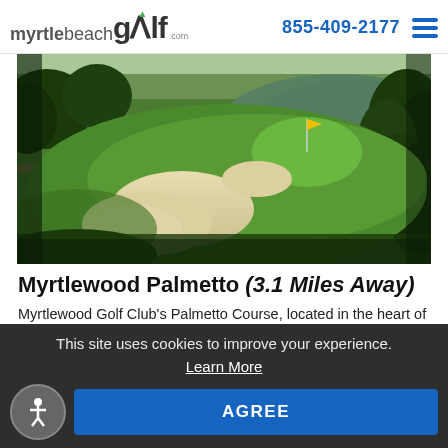myrtlebeachgolf.com — 855-409-2177
[Figure (photo): Aerial view of a golf course with sand bunkers, green fairways, and a water hazard/lake in the background surrounded by trees]
Myrtlewood Palmetto (3.1 Miles Away)
Myrtlewood Golf Club's Palmetto Course, located in the heart of Myrtle Beach, is one of two championship layouts that stretch through pine forests and along the
This site uses cookies to improve your experience. Learn More
AGREE